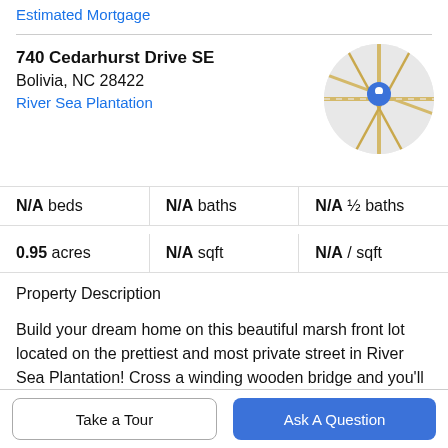Estimated Mortgage
740 Cedarhurst Drive SE
Bolivia, NC 28422
River Sea Plantation
[Figure (map): Circular map thumbnail showing street map with a blue location pin marker]
N/A beds | N/A baths | N/A ½ baths
0.95 acres | N/A sqft | N/A / sqft
Property Description
Build your dream home on this beautiful marsh front lot located on the prettiest and most private street in River Sea Plantation! Cross a winding wooden bridge and you'll find this spacious (nearly 1 acre!) lot, secluded from the rest of the community, and enjoy the breathtaking views of
Take a Tour
Ask A Question